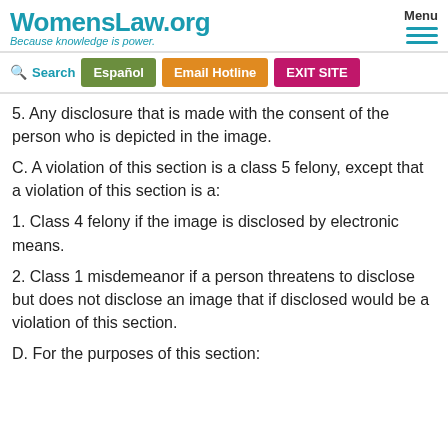WomensLaw.org — Because knowledge is power. Menu | Search | Español | Email Hotline | EXIT SITE
5. Any disclosure that is made with the consent of the person who is depicted in the image.
C. A violation of this section is a class 5 felony, except that a violation of this section is a:
1. Class 4 felony if the image is disclosed by electronic means.
2. Class 1 misdemeanor if a person threatens to disclose but does not disclose an image that if disclosed would be a violation of this section.
D. For the purposes of this section: